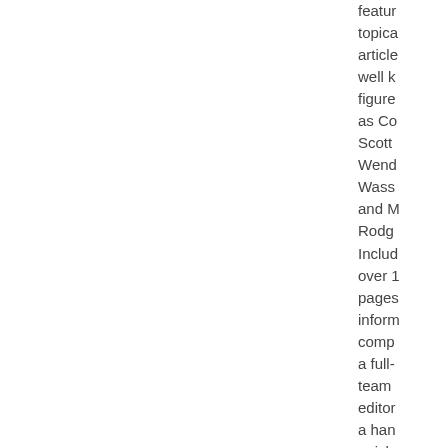featur topica article well k figure as Co Scott Wend Wass and M Rodg Includ over 1 pages inform comp a full- team editor a han quick refere index. World